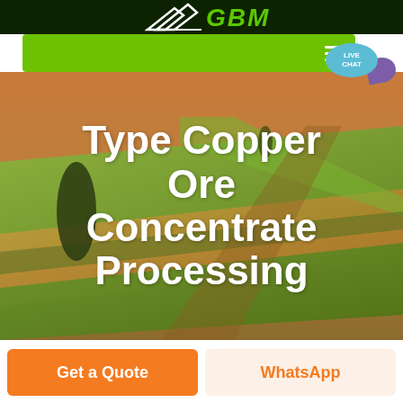GBM
[Figure (screenshot): GBM website screenshot showing a green navigation bar with hamburger menu icon and a live chat bubble, overlaid on an aerial photo of cultivated fields in warm golden and green tones]
Type Copper Ore Concentrate Processing
Get a Quote
WhatsApp